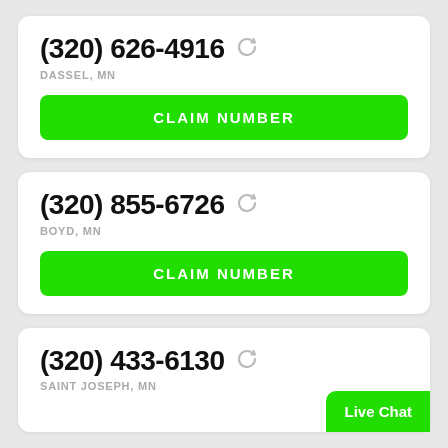(320) 626-4916
DASSEL, MN
CLAIM NUMBER
(320) 855-6726
BOYD, MN
CLAIM NUMBER
(320) 433-6130
SAINT JOSEPH, MN
Live Chat